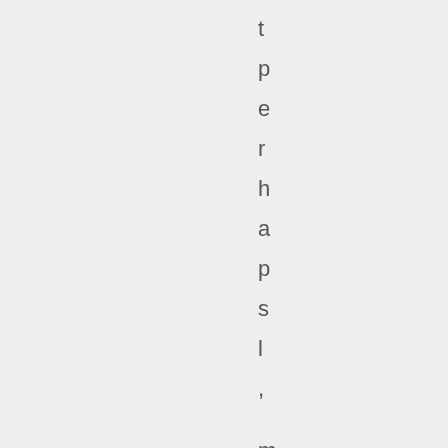t p e r h a p s l , m e i t h e